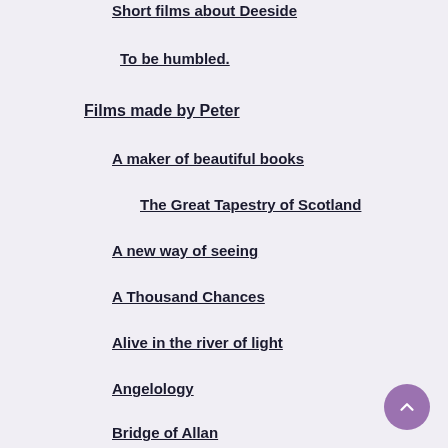Short films about Deeside
To be humbled.
Films made by Peter
A maker of beautiful books
The Great Tapestry of Scotland
A new way of seeing
A Thousand Chances
Alive in the river of light
Angelology
Bridge of Allan